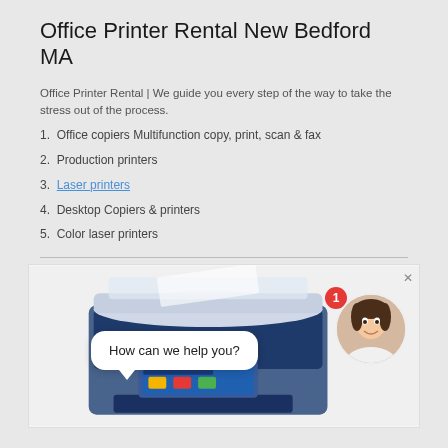Office Printer Rental New Bedford MA
Office Printer Rental | We guide you every step of the way to take the stress out of the process.
1. Office copiers Multifunction copy, print, scan & fax
2. Production printers
3. Laser printers
4. Desktop Copiers & printers
5. Color laser printers
[Figure (photo): Photo of an office printer/copier with a chat widget overlay showing 'How can we help you?' speech bubble and a female customer service avatar with a notification badge showing '1']